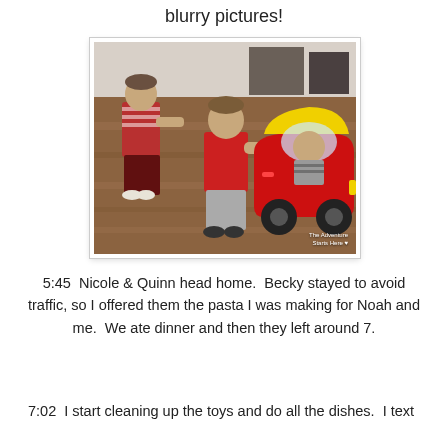blurry pictures!
[Figure (photo): Three young children playing indoors on hardwood floors. One child in a striped shirt stands on the left. Another child in a red shirt pushes a red and yellow Little Tikes Cozy Coupe toy car. A third child sits inside the toy car. A watermark reads 'The Adventure Starts Here' in the bottom right corner.]
5:45  Nicole & Quinn head home.  Becky stayed to avoid traffic, so I offered them the pasta I was making for Noah and me.  We ate dinner and then they left around 7.
7:02  I start cleaning up the toys and do all the dishes.  I text